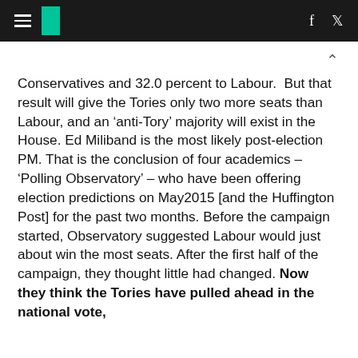[Huffington Post navigation bar with hamburger menu, logo, Facebook and Twitter icons]
Conservatives and 32.0 percent to Labour.  But that result will give the Tories only two more seats than Labour, and an ‘anti-Tory’ majority will exist in the House. Ed Miliband is the most likely post-election PM. That is the conclusion of four academics – ‘Polling Observatory’ – who have been offering election predictions on May2015 [and the Huffington Post] for the past two months. Before the campaign started, Observatory suggested Labour would just about win the most seats. After the first half of the campaign, they thought little had changed. Now they think the Tories have pulled ahead in the national vote,